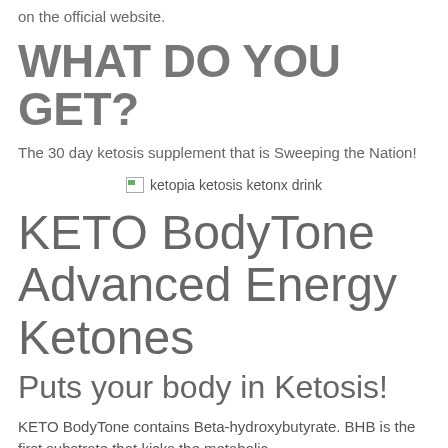on the official website.
WHAT DO YOU GET?
The 30 day ketosis supplement that is Sweeping the Nation!
[Figure (photo): Broken image placeholder labeled 'ketopia ketosis ketonx drink']
KETO BodyTone Advanced Energy Ketones
Puts your body in Ketosis!
KETO BodyTone contains Beta-hydroxybutyrate. BHB is the first substrate that kicks the metabolic state of ketosis into action. Real BHB has been...